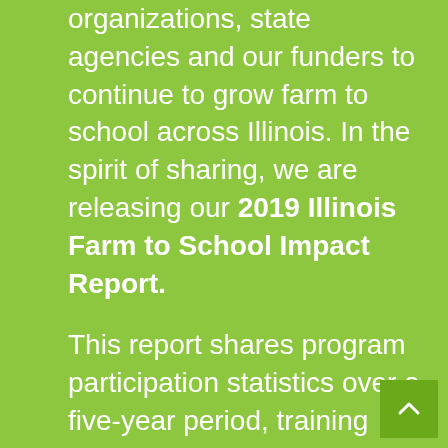organizations, state agencies and our funders to continue to grow farm to school across Illinois. In the spirit of sharing, we are releasing our 2019 Illinois Farm to School Impact Report.

This report shares program participation statistics over a five-year period, training events and a snapshot of our work and our focus through 2019. As an organization, housed at Seven Generations Ahead in Oak Park, Ill., we also coordinate our efforts in farm to school with the Zero Waste Schools program to provide an opportunity for sites to fully visualize